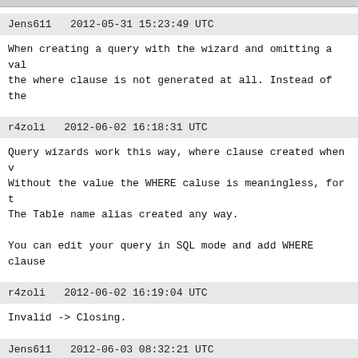Jens611   2012-05-31 15:23:49 UTC
When creating a query with the wizard and omitting a val the where clause is not generated at all. Instead of the
r4zoli   2012-06-02 16:18:31 UTC
Query wizards work this way, where clause created when v Without the value the WHERE caluse is meaningless, for t The Table name alias created any way.

You can edit your query in SQL mode and add WHERE clause
r4zoli   2012-06-02 16:19:04 UTC
Invalid -> Closing.
Jens611   2012-06-03 08:32:21 UTC
The problem is that a syntactically wrong sql statement

e.g.
select * from tab1 tab1

So the bug has to stay open/unsolved!